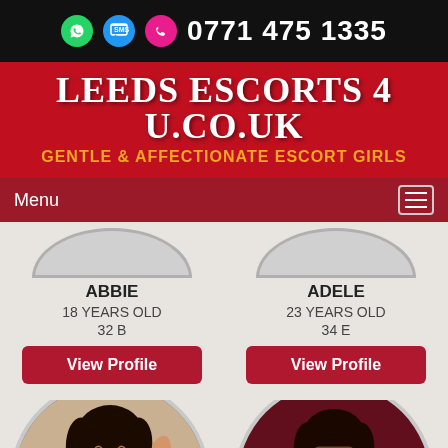0771 475 1335
LEEDS ESCORTS 4 U.CO.UK
GENTLE & AFFECTIONATE ESCORT GIRLS
Menu
ABBIE
18 YEARS OLD
32 B
ADELE
23 YEARS OLD
34 E
[Figure (photo): Circular portrait photo of escort named ABBIE]
[Figure (photo): Circular portrait photo of escort named ADELE]
View Profile
View Profile